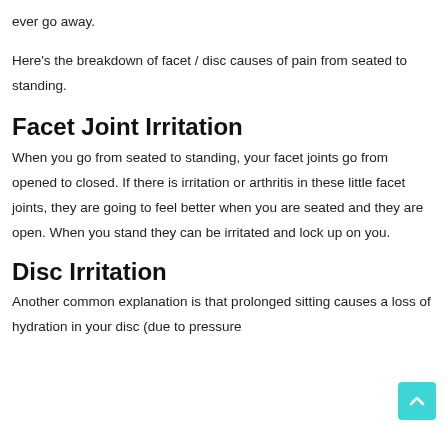ever go away.
Here's the breakdown of facet / disc causes of pain from seated to standing.
Facet Joint Irritation
When you go from seated to standing, your facet joints go from opened to closed. If there is irritation or arthritis in these little facet joints, they are going to feel better when you are seated and they are open. When you stand they can be irritated and lock up on you.
Disc Irritation
Another common explanation is that prolonged sitting causes a loss of hydration in your disc (due to pressure